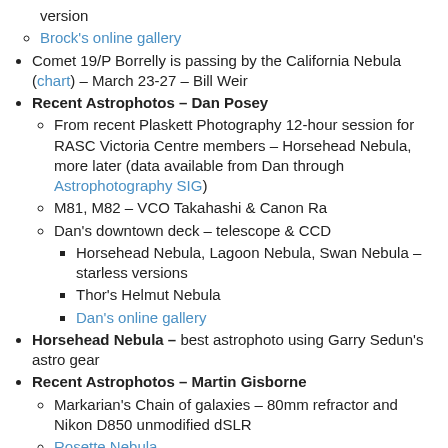version
Brock's online gallery
Comet 19/P Borrelly is passing by the California Nebula (chart) – March 23-27 – Bill Weir
Recent Astrophotos – Dan Posey
From recent Plaskett Photography 12-hour session for RASC Victoria Centre members – Horsehead Nebula, more later (data available from Dan through Astrophotography SIG)
M81, M82 – VCO Takahashi & Canon Ra
Dan's downtown deck – telescope & CCD
Horsehead Nebula, Lagoon Nebula, Swan Nebula – starless versions
Thor's Helmut Nebula
Dan's online gallery
Horsehead Nebula – best astrophoto using Garry Sedun's astro gear
Recent Astrophotos – Martin Gisborne
Markarian's Chain of galaxies – 80mm refractor and Nikon D850 unmodified dSLR
Rosette Nebula
Horsehead & Flame Nebulae with Iridium flare
Flaming Star Nebula IC 405 using 8" SCT